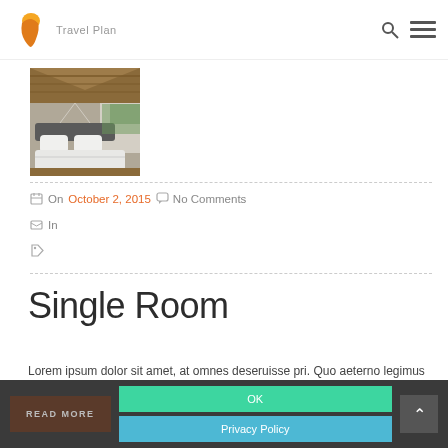Travel Plan — navigation header with logo and hamburger menu
[Figure (photo): Hotel bedroom with white bedding, thatched roof, and natural light — Travel Plan blog post image]
On October 2, 2015   No Comments
In
Single Room
Lorem ipsum dolor sit amet, at omnes deseruisse pri. Quo aeterno legimus insolens ad. Sit cu detraxit constituam, an mel iudico constituto efficiendi.
READ MORE   OK   Privacy Policy